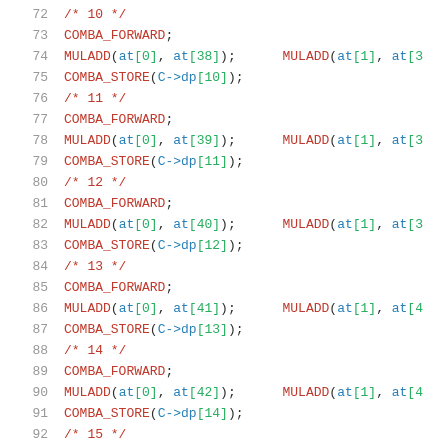72   /* 10 */
73   COMBA_FORWARD;
74   MULADD(at[0], at[38]);   MULADD(at[1], at[3...
75   COMBA_STORE(C->dp[10]);
76   /* 11 */
77   COMBA_FORWARD;
78   MULADD(at[0], at[39]);   MULADD(at[1], at[3...
79   COMBA_STORE(C->dp[11]);
80   /* 12 */
81   COMBA_FORWARD;
82   MULADD(at[0], at[40]);   MULADD(at[1], at[3...
83   COMBA_STORE(C->dp[12]);
84   /* 13 */
85   COMBA_FORWARD;
86   MULADD(at[0], at[41]);   MULADD(at[1], at[4...
87   COMBA_STORE(C->dp[13]);
88   /* 14 */
89   COMBA_FORWARD;
90   MULADD(at[0], at[42]);   MULADD(at[1], at[4...
91   COMBA_STORE(C->dp[14]);
92   /* 15 */